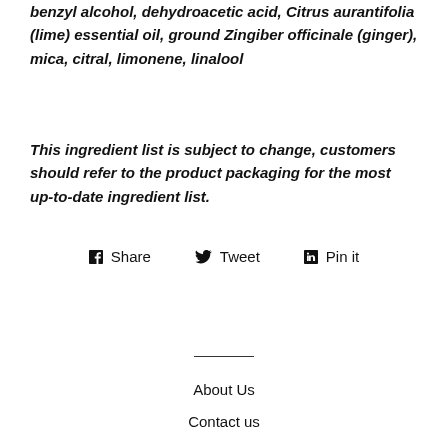benzyl alcohol, dehydroacetic acid, Citrus aurantifolia (lime) essential oil, ground Zingiber officinale (ginger), mica, citral, limonene, linalool
This ingredient list is subject to change, customers should refer to the product packaging for the most up-to-date ingredient list.
Share   Tweet   Pin it
About Us
Contact us
Blogs
Community bulk buying group
Knowledge Base